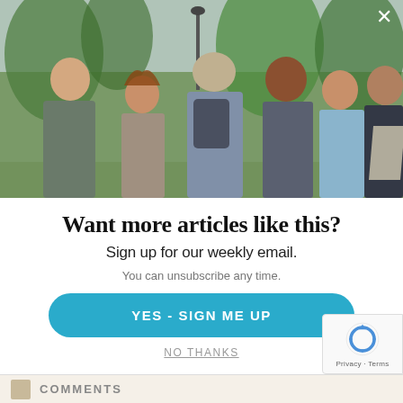[Figure (photo): Group of people networking outdoors in a park setting, green trees in background, overcast sky. Multiple people of different ethnicities conversing in a group.]
Want more articles like this?
Sign up for our weekly email.
You can unsubscribe any time.
YES - SIGN ME UP
NO THANKS
COMMENTS